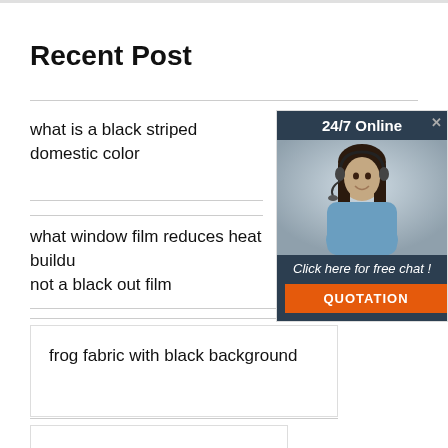Recent Post
what is a black striped domestic color
what window film reduces heat buildup not a black out film
frog fabric with black background
black plastic coated wire mesh
[Figure (photo): Advertisement widget showing a woman with a headset smiling, with '24/7 Online' header, 'Click here for free chat!' text, and an orange QUOTATION button]